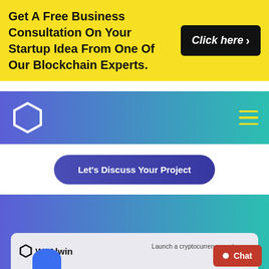Get A Free Business Consultation On Your Startup Idea From One Of Our Blockchain Experts.
Click here ›
[Figure (logo): WeAlwin hexagon logo on blue-teal gradient navbar with hamburger menu]
Let's Discuss Your Project
You May Also Like
[Figure (screenshot): WeAlwin logo card strip with blue circle and text about cryptocurrency exchange platform]
Launch a cryptocurrency exchange platform with
● Chat